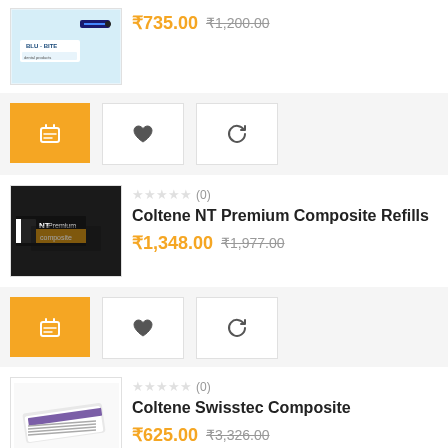[Figure (screenshot): Partial view of a dental product with BLU-BITE branding, light blue background packaging]
₹735.00  ₹1,200.00
[Figure (screenshot): Three action buttons: orange add-to-cart basket, heart/wishlist, and refresh/compare in white boxes]
[Figure (photo): Coltene NT Premium Composite Refills product image on dark background]
★★★★★ (0)
Coltene NT Premium Composite Refills
₹1,348.00  ₹1,977.00
[Figure (screenshot): Three action buttons: orange add-to-cart basket, heart/wishlist, and refresh/compare in white boxes]
[Figure (photo): Coltene Swisstec Composite product image, white packaging with strips]
★★★★★ (0)
Coltene Swisstec Composite
₹625.00  ₹3,326.00